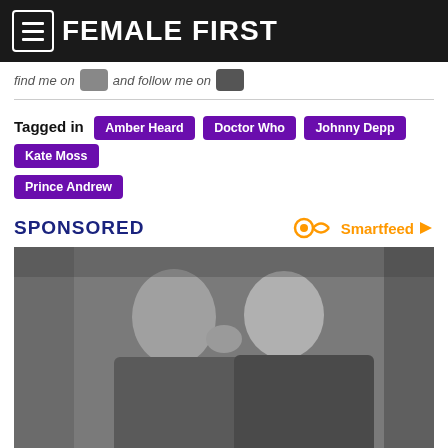FEMALE FIRST
find me on  and follow me on
Tagged in  Amber Heard  Doctor Who  Johnny Depp  Kate Moss  Prince Andrew
SPONSORED
Smartfeed
[Figure (photo): Two men in suits kissing on the cheek at what appears to be a formal event.]
[Photos] At 67, John Travolta Is Living In This House With